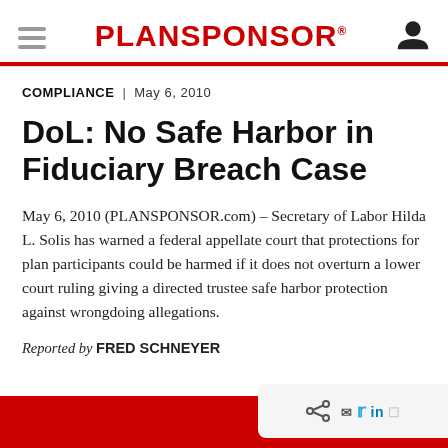PLANSPONSOR
COMPLIANCE  |  May 6, 2010
DoL: No Safe Harbor in Fiduciary Breach Case
May 6, 2010 (PLANSPONSOR.com) – Secretary of Labor Hilda L. Solis has warned a federal appellate court that protections for plan participants could be harmed if it does not overturn a lower court ruling giving a directed trustee safe harbor protection against wrongdoing allegations.
Reported by FRED SCHNEYER